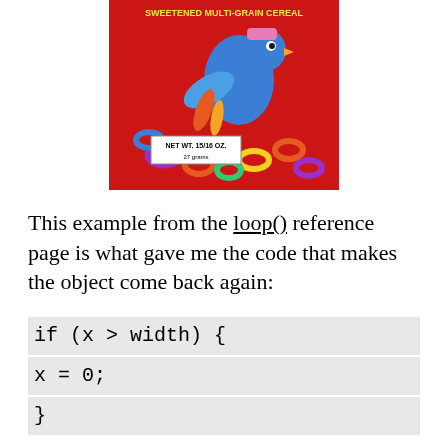[Figure (photo): Photo of a Froot Loops cereal box showing a colorful bird mascot and cereal rings, with text 'NET WT. 15/16 OZ. 27 grams']
This example from the loop() reference page is what gave me the code that makes the object come back again:
I also learned about mousePressed() and mouseReleased(). I thought for sure that I